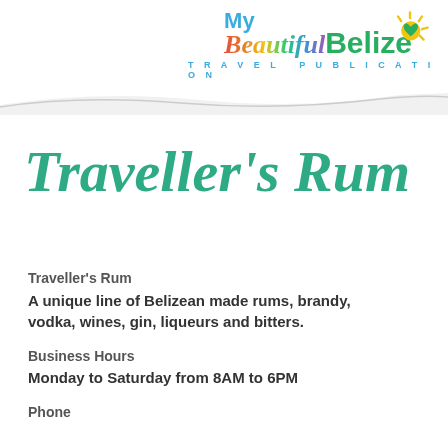[Figure (logo): My Beautiful Belize Travel Publication logo with colorful script text and sun icon]
Traveller's Rum
Traveller's Rum
A unique line of Belizean made rums, brandy, vodka, wines, gin, liqueurs and bitters.
Business Hours
Monday to Saturday from 8AM to 6PM
Phone